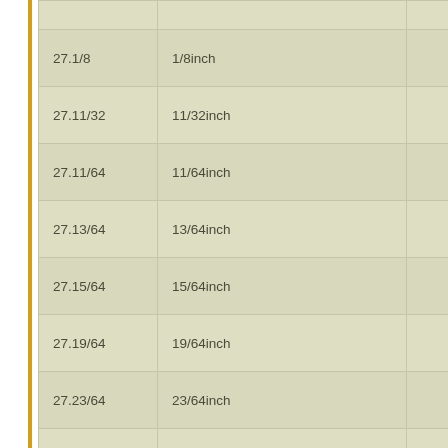| Code | Description | Value |
| --- | --- | --- |
| 27.1/8 | 1/8inch | 10 |
| 27.11/32 | 11/32inch | 10 |
| 27.11/64 | 11/64inch | 10 |
| 27.13/64 | 13/64inch | 10 |
| 27.15/64 | 15/64inch | 10 |
| 27.19/64 | 19/64inch | 10 |
| 27.23/64 | 23/64inch | 10 |
| 27.3/16 | 3/16inch | 10 |
| 27.3/8 | 3/8inch | 10 |
| 27.5/16 | 5/16inch | 10 |
| 27.5/32 | 5/32inch | 10 |